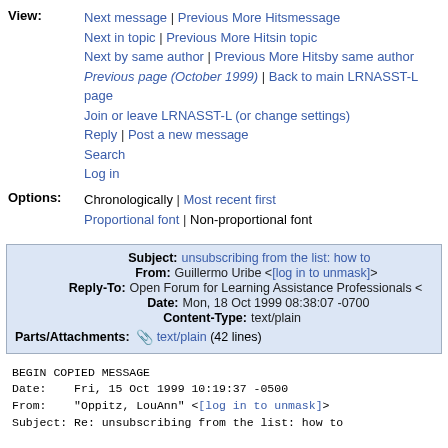View: Next message | Previous More Hitsmessage
Next in topic | Previous More Hitsin topic
Next by same author | Previous More Hitsby same author
Previous page (October 1999) | Back to main LRNASST-L page
Join or leave LRNASST-L (or change settings)
Reply | Post a new message
Search
Log in
Options: Chronologically | Most recent first
Proportional font | Non-proportional font
| Subject: | unsubscribing from the list: how to |
| From: | Guillermo Uribe <[log in to unmask]> |
| Reply-To: | Open Forum for Learning Assistance Professionals < |
| Date: | Mon, 18 Oct 1999 08:38:07 -0700 |
| Content-Type: | text/plain |
| Parts/Attachments: | text/plain (42 lines) |
BEGIN COPIED MESSAGE
Date:    Fri, 15 Oct 1999 10:19:37 -0500
From:    "Oppitz, LouAnn" <[log in to unmask]>
Subject: Re: unsubscribing from the list: how to

Hi Steve,
I have a rather unique situation.  Our college changed
in Aug.  I need to unsubcribe my address: [log in to unmas